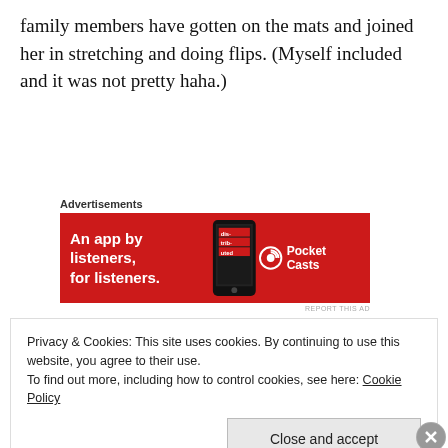family members have gotten on the mats and joined her in stretching and doing flips. (Myself included and it was not pretty haha.)
[Figure (other): Pocket Casts advertisement banner with red background. Text reads 'An app by listeners, for listeners.' with a phone graphic and Pocket Casts logo.]
Last week when I picked her up from class, she said she didn’t want to go back. I haven’t seen her this frustrated since she started. This week,
Privacy & Cookies: This site uses cookies. By continuing to use this website, you agree to their use.
To find out more, including how to control cookies, see here: Cookie Policy